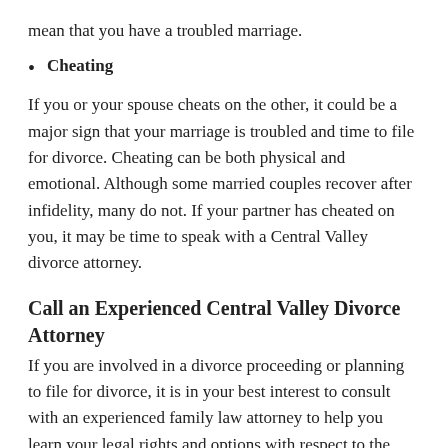mean that you have a troubled marriage.
Cheating
If you or your spouse cheats on the other, it could be a major sign that your marriage is troubled and time to file for divorce. Cheating can be both physical and emotional. Although some married couples recover after infidelity, many do not. If your partner has cheated on you, it may be time to speak with a Central Valley divorce attorney.
Call an Experienced Central Valley Divorce Attorney
If you are involved in a divorce proceeding or planning to file for divorce, it is in your best interest to consult with an experienced family law attorney to help you learn your legal rights and options with respect to the division of your assets.
For more information, contact...